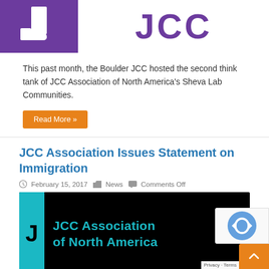[Figure (logo): Boulder JCC logo: purple square with white J symbol on left, and large purple 'JCC' text on right]
This past month, the Boulder JCC hosted the second think tank of JCC Association of North America’s Sheva Lab Communities.
Read More »
JCC Association Issues Statement on Immigration
February 15, 2017  News  Comments Off
[Figure (logo): JCC Association of North America banner: black background with teal/cyan text reading 'JCC Association of North America' with teal J accent on left]
This week the Board of the JCC Association issued a Statement